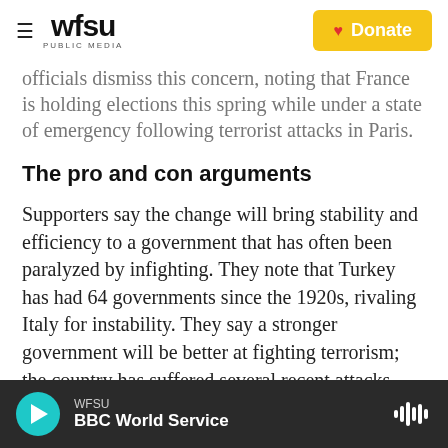WFSU PUBLIC MEDIA | Donate
officials dismiss this concern, noting that France is holding elections this spring while under a state of emergency following terrorist attacks in Paris.
The pro and con arguments
Supporters say the change will bring stability and efficiency to a government that has often been paralyzed by infighting. They note that Turkey has had 64 governments since the 1920s, rivaling Italy for instability. They say a stronger government will be better at fighting terrorism; the country has suffered several recent attacks.
WFSU | BBC World Service